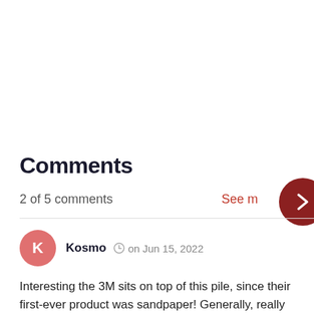Comments
2 of 5 comments
See m
Kosmo  on Jun 15, 2022
Interesting the 3M sits on top of this pile, since their first-ever product was sandpaper! Generally, really high-quality stuff from them all around.